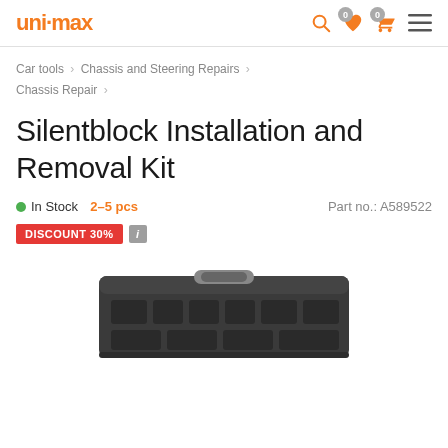[Figure (logo): uni-max orange logo with hyphen/dash]
Car tools > Chassis and Steering Repairs > Chassis Repair >
Silentblock Installation and Removal Kit
● In Stock  2–5 pcs    Part no.: A589522
DISCOUNT 30%  i
[Figure (photo): Dark grey tool case / toolbox with compartments and handle, photographed from above]